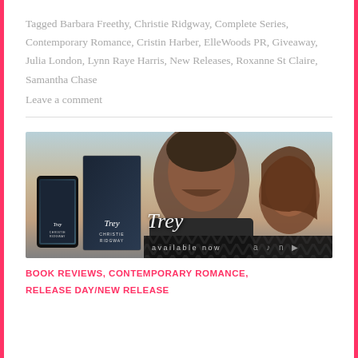Tagged Barbara Freethy, Christie Ridgway, Complete Series, Contemporary Romance, Cristin Harber, ElleWoods PR, Giveaway, Julia London, Lynn Raye Harris, New Releases, Roxanne St Claire, Samantha Chase
Leave a comment
[Figure (photo): Book cover and promotional image for 'Trey' by Christie Ridgway, showing a man and woman in a romantic pose with book covers on the left, and an 'available now' banner at the bottom.]
BOOK REVIEWS, CONTEMPORARY ROMANCE, RELEASE DAY/NEW RELEASE